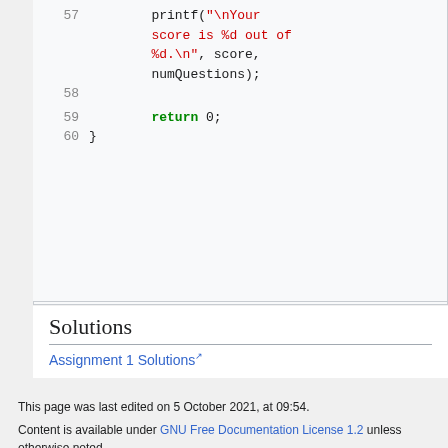[Figure (screenshot): Code snippet lines 57-60 of a C program showing printf with score output and return 0]
Solutions
Assignment 1 Solutions (external link)
This page was last edited on 5 October 2021, at 09:54.
Content is available under GNU Free Documentation License 1.2 unless otherwise noted.
Privacy policy   About Soma-notes
Disclaimers